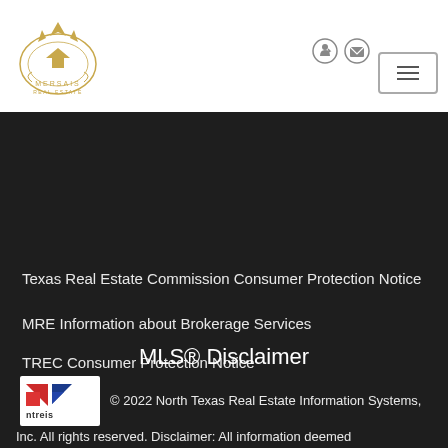[Figure (logo): Mersais Real Estate gold crown logo]
[Figure (other): Navigation icons: login and email in header top right, hamburger menu button]
Texas Real Estate Commission Consumer Protection Notice
MRE Information about Brokerage Services
TREC Consumer Protection Notice
MLS® Disclaimer
[Figure (logo): NTREIS logo — red and blue triangular stripes with 'ntreis' text]
© 2022 North Texas Real Estate Information Systems,
Inc. All rights reserved. Disclaimer: All information deemed